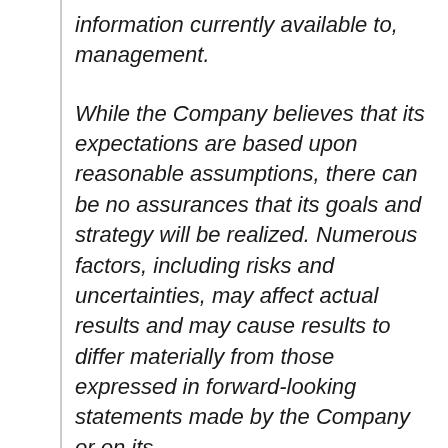information currently available to, management.
While the Company believes that its expectations are based upon reasonable assumptions, there can be no assurances that its goals and strategy will be realized. Numerous factors, including risks and uncertainties, may affect actual results and may cause results to differ materially from those expressed in forward-looking statements made by the Company or on its